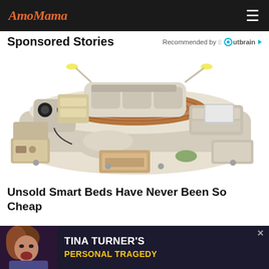AmoMama
Sponsored Stories
Recommended by Outbrain
[Figure (photo): A luxurious multi-functional smart bed with built-in speakers, massage chair, storage drawers, reading lamps, shelving units, and a laptop, shown in beige/cream leather with brown bedding.]
Unsold Smart Beds Have Never Been So Cheap
[Figure (photo): Advertisement banner featuring Tina Turner with text 'TINA TURNER'S PERSONAL TRAGEDY' on dark background.]